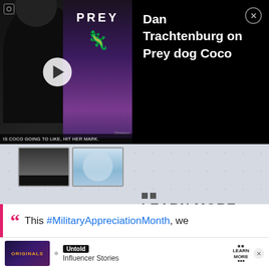[Figure (screenshot): Video player showing man being interviewed and Prey movie poster, with overlay notification saying 'Dan Trachtenburg on Prey dog Coco' and a close button]
[Figure (screenshot): Two small video thumbnails below main video - person in dark gym clothes and smiling person in blue]
[Figure (infographic): LEARN MORE button with decorative dots and bracket in gray background area]
This #MilitaryAppreciationMonth, we
[Figure (screenshot): Bottom advertisement banner with Originals logo, bullet point, Untold Influencer Stories text, LEARN MORE label, and close X button]